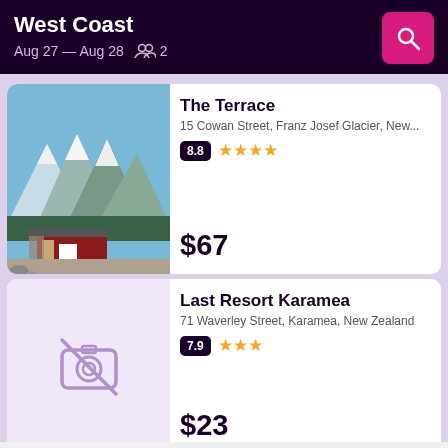West Coast
Aug 27 — Aug 28   2
The Terrace
15 Cowan Street, Franz Josef Glacier, New...
8.8 ★★★★
$67
Last Resort Karamea
71 Waverley Street, Karamea, New Zealand
7.9 ★★★
$23
Westport Motels